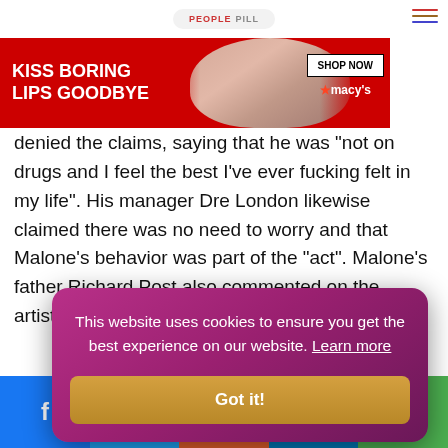[Figure (screenshot): People Pill website navigation bar with hamburger menu icon]
[Figure (photo): Macy's advertisement banner: KISS BORING LIPS GOODBYE with SHOP NOW button and star Macy's logo, showing a model with red lips]
Apart from being and health. Malone himself denied the claims, saying that he was "not on drugs and I feel the best I've ever fucking felt in my life". His manager Dre London likewise claimed there was no need to worry and that Malone's behavior was part of the "act". Malone's father Richard Post also commented on the artist's behavior, stating that he does not "want to u who have exp erity and kindness g and apprecia
[Figure (screenshot): Cookie consent overlay: 'This website uses cookies to ensure you get the best experience on our website. Learn more' with 'Got it!' button]
[Figure (infographic): Social share bar with Facebook, Twitter, Reddit, LinkedIn, and WhatsApp buttons]